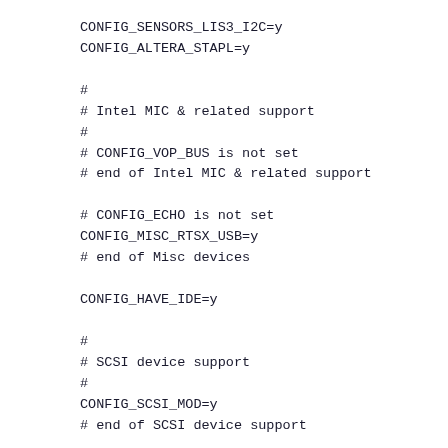CONFIG_SENSORS_LIS3_I2C=y
CONFIG_ALTERA_STAPL=y

#
# Intel MIC & related support
#
# CONFIG_VOP_BUS is not set
# end of Intel MIC & related support

# CONFIG_ECHO is not set
CONFIG_MISC_RTSX_USB=y
# end of Misc devices

CONFIG_HAVE_IDE=y

#
# SCSI device support
#
CONFIG_SCSI_MOD=y
# end of SCSI device support

# CONFIG_MACINTOSH_DRIVERS is not set
# CONFIG_NETDEVICES is not set

#
# Input device support
#
CONFIG_INPUT=y
# CONFIG_INPUT_LEDS is not set
CONFIG_INPUT_FF_MEMLESS=y